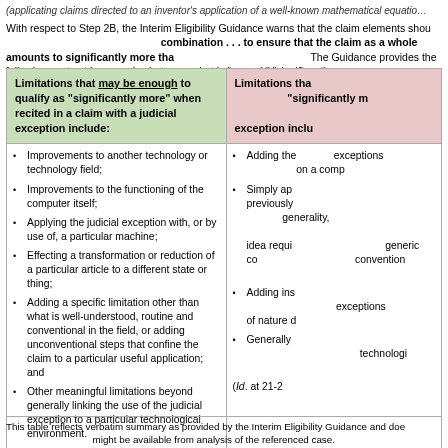(applicating claims directed to an inventor's application of a well-known mathematical equation
With respect to Step 2B, the Interim Eligibility Guidance warns that the claim elements should be considered individually and in combination . . . to ensure that the claim as a whole amounts to significantly more than the judicial exception itself. The Guidance provides the following contrast in examples between what is "enough" "significantly more":
| Limitations that may be enough to qualify as "significantly more" when recited in a claim with a judicial exception include: | Limitations that are NOT enough to qualify as "significantly more" when recited in a claim with a judicial exception include: |
| --- | --- |
| • Improvements to another technology or technology field;
• Improvements to the functioning of the computer itself;
• Applying the judicial exception with, or by use of, a particular machine;
• Effecting a transformation or reduction of a particular article to a different state or thing;
• Adding a specific limitation other than what is well-understood, routine and conventional in the field, or adding unconventional steps that confine the claim to a particular useful application; and
• Other meaningful limitations beyond generally linking the use of the judicial exception to a particular technological environment.
(Id. at 20-21 (emphasis added)). | • Adding the judicial exception with no more than a generally linking use exceptions to a particular technological environment, such as applying it on a computer.
• Simply applying a judicial exception, in general, to a particular previously-known technology, or particular use case, at a high level of generality, where the claim still amounts to no more than the abstract idea requiring no more than a generic computer to implement conventional computing operations.
• Adding insignificant, extra-solution activity to a judicial exception, such as of nature data gathering steps.
• Generally linking the use of the judicial exception to a particular technological environment or field of use.
(Id. at 21-22). |
This table reflects verbatim summary as provided by the Interim Eligibility Guidance and does not reflect analysis that might be available from analysis of the referenced case.